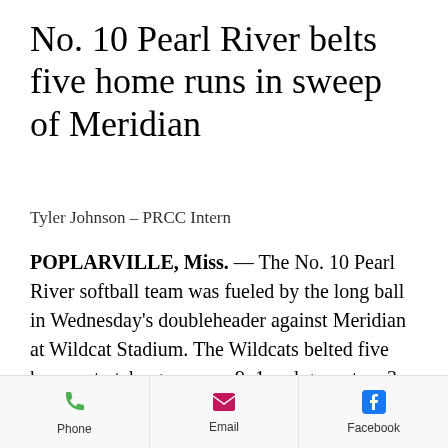No. 10 Pearl River belts five home runs in sweep of Meridian
Tyler Johnson - PRCC Intern
POPLARVILLE, Miss. — The No. 10 Pearl River softball team was fueled by the long ball in Wednesday's doubleheader against Meridian at Wildcat Stadium. The Wildcats belted five homers to take game one 9-1 and game two 3-2.
"I am super proud of them," head
Phone | Email | Facebook